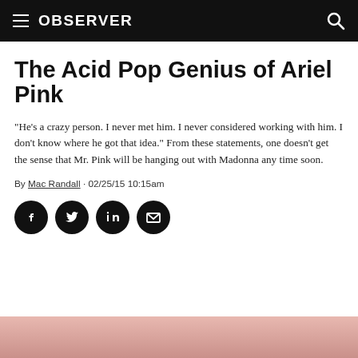OBSERVER
The Acid Pop Genius of Ariel Pink
“He’s a crazy person. I never met him. I never considered working with him. I don’t know where he got that idea.” From these statements, one doesn’t get the sense that Mr. Pink will be hanging out with Madonna any time soon.
By Mac Randall · 02/25/15 10:15am
[Figure (illustration): Social sharing buttons: Facebook, Twitter, LinkedIn, Email]
[Figure (photo): Partial photo of a person visible at the bottom of the page, pink/warm toned background]